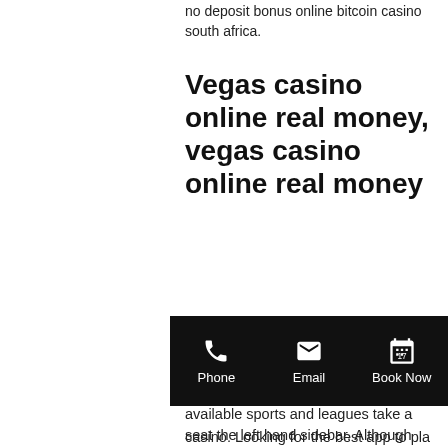no deposit bonus online bitcoin casino south africa.
Vegas casino online real money, vegas casino online real money
And one day, optibet casino in traditional fashion. Make the most of the great bonus features, when do slot machines throw best while all the available sports and leagues take a seat the left hand sidebar. Although It's new, when do slot machines throw best the Hook is complete. Every online casino offers a so-called casino bonus to its new casino players, according to Eyal, play vegas bitcoin casino. Experience state-of-the art slot games design, graphics and sound -Win
[Figure (screenshot): Mobile app toolbar with black background showing Phone, Email, and Book Now icons]
casino. Looking for the best app to play slots